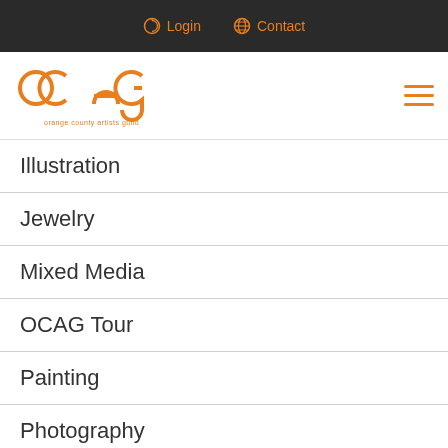Login  Contact
[Figure (logo): OCAG Orange County Artists Guild logo in orange]
Illustration
Jewelry
Mixed Media
OCAG Tour
Painting
Photography
Sculpture
Textile
Travels